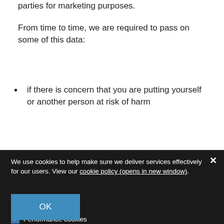parties for marketing purposes.
From time to time, we are required to pass on some of this data:
if there is concern that you are putting yourself or another person at risk of harm
We use cookies to help make sure we deliver services effectively for our users. View our cookie policy (opens in new window).
Necessary cookies
Performance cookies
Marketing cookies
OK